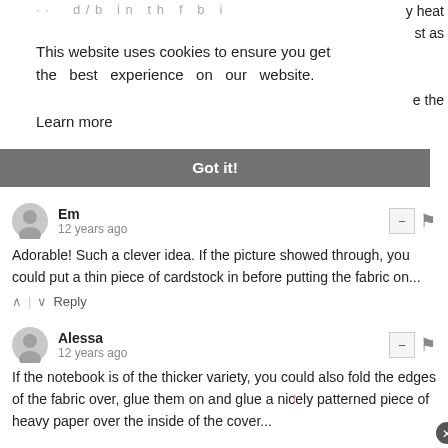· · · d / b · i n · t h · f · b · i · · · · · · · · · · · y heat
· · · · · · · · · · · · · · · · · · · · · · · · · · st as
This website uses cookies to ensure you get the best experience on our website. Learn more
Got it!
Em
12 years ago
Adorable! Such a clever idea. If the picture showed through, you could put a thin piece of cardstock in before putting the fabric on...
^ | v Reply
Alessa
12 years ago
If the notebook is of the thicker variety, you could also fold the edges of the fabric over, glue them on and glue a nicely patterned piece of heavy paper over the inside of the cover...